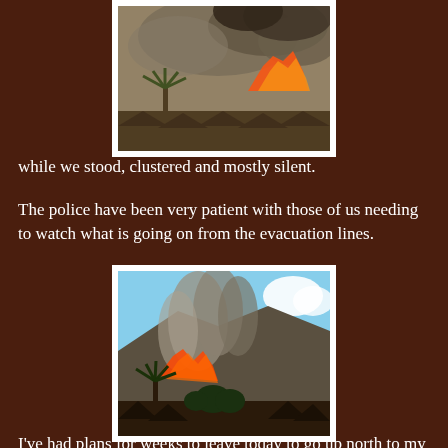[Figure (photo): Wildfire with large smoke plume and orange flames visible above rooftops with a palm tree in the foreground]
while we stood, clustered and mostly silent.
The police have been very patient with those of us needing to watch what is going on from the evacuation lines.
[Figure (photo): Wildfire burning on hillside with heavy smoke, palm tree visible, rooftops in foreground, blue sky visible]
I've had plans for weeks to leave today to go up north to my